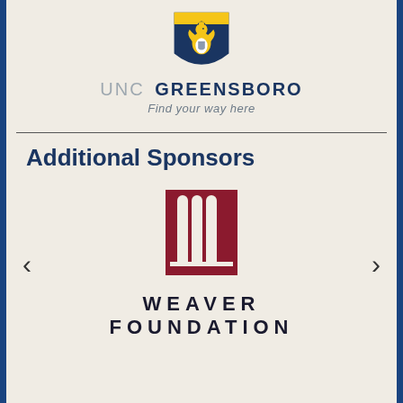[Figure (logo): UNC Greensboro Spartan shield logo with gold and navy coloring]
UNC GREENSBORO
Find your way here
Additional Sponsors
[Figure (logo): Weaver Foundation logo with dark red vertical columns and text WEAVER FOUNDATION]